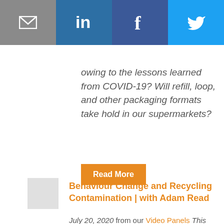[Figure (other): Social media sharing bar with email, LinkedIn, Facebook, and Twitter icons]
owing to the lessons learned from COVID-19? Will refill, loop, and other packaging formats take hold in our supermarkets?
Read More
Behaviour Change and Recycling Contamination | with Adam Read
July 20, 2020 from our Video Panels This webinar discussed common